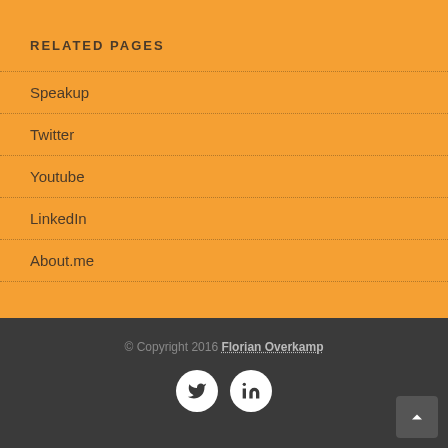RELATED PAGES
Speakup
Twitter
Youtube
LinkedIn
About.me
© Copyright 2016 Florian Overkamp
[Figure (other): Social media icons: Twitter bird icon and LinkedIn 'in' icon, both in white circles. A scroll-to-top arrow button in dark grey rounded square at bottom right.]